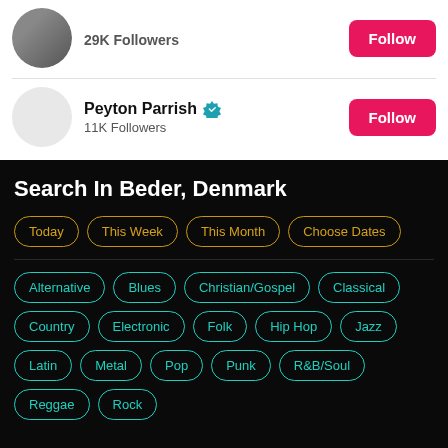29K Followers
Peyton Parrish — 11K Followers
Search In Beder, Denmark
Today
This Week
This Month
Choose Dates
Alternative
Blues
Christian/Gospel
Classical
Country
Electronic
Folk
Hip Hop
Jazz
Latin
Metal
Pop
Punk
R&B/Soul
Reggae
Rock